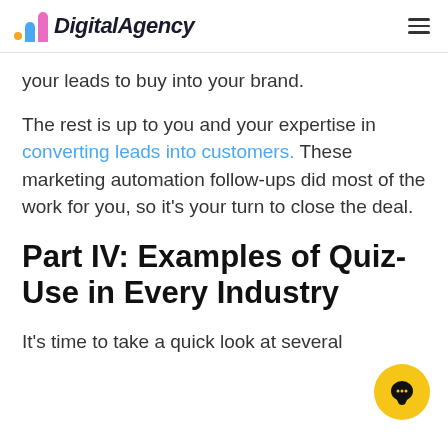DigitalAgency
your leads to buy into your brand.
The rest is up to you and your expertise in converting leads into customers. These marketing automation follow-ups did most of the work for you, so it’s your turn to close the deal.
Part IV: Examples of Quiz-Use in Every Industry
It’s time to take a quick look at several